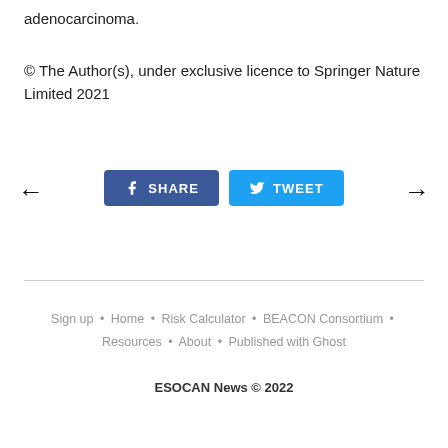adenocarcinoma.
© The Author(s), under exclusive licence to Springer Nature Limited 2021
[Figure (infographic): Navigation and social share buttons: left arrow, Facebook SHARE button (dark blue), Twitter TWEET button (light blue), right arrow]
Sign up • Home • Risk Calculator • BEACON Consortium • Resources • About • Published with Ghost
ESOCAN News © 2022